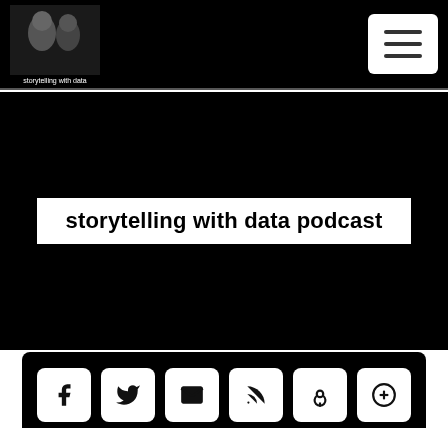storytelling with data
storytelling with data podcast
[Figure (other): Social media and podcast platform icons: Facebook, Twitter, Email, RSS, Podcast, Plus, Spotify, YouTube, RadioPublic]